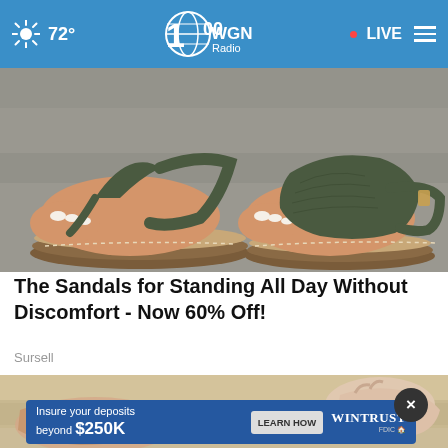72° | WGN Radio | LIVE
[Figure (photo): Close-up photo of feet wearing dark olive/green T-strap sandals with embossed detailing and brown soles, on a grey wooden surface. White toenail polish visible.]
The Sandals for Standing All Day Without Discomfort - Now 60% Off!
Sursell
[Figure (photo): Partial photo of hands touching or massaging a foot, on a light beige/tan background.]
[Figure (infographic): Wintrust bank advertisement banner: 'Insure your deposits beyond $250K' with LEARN HOW button and Wintrust logo.]